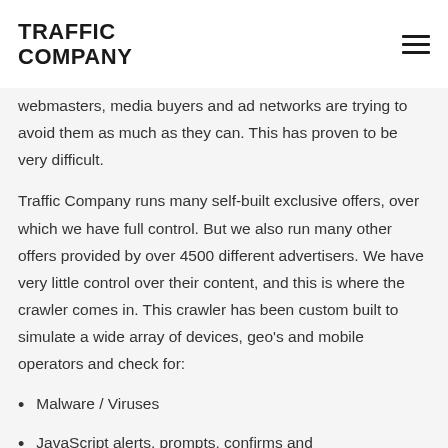TRAFFIC COMPANY
webmasters, media buyers and ad networks are trying to avoid them as much as they can. This has proven to be very difficult.
Traffic Company runs many self-built exclusive offers, over which we have full control. But we also run many other offers provided by over 4500 different advertisers. We have very little control over their content, and this is where the crawler comes in. This crawler has been custom built to simulate a wide array of devices, geo's and mobile operators and check for:
Malware / Viruses
JavaScript alerts, prompts, confirms and